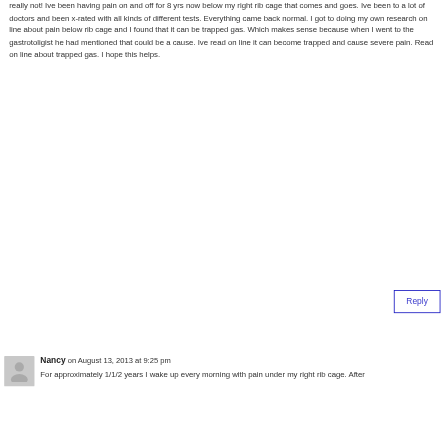really not! Ive been having pain on and off for 8 yrs now below my right rib cage that comes and goes. Ive been to a lot of doctors and been x-rated with all kinds of different tests. Everything came back normal. I got to doing my own research on line about pain below rib cage and I found that it can be trapped gas. Which makes sense because when I went to the gastrotoligist he had mentioned that could be a cause. Ive read on line it can become trapped and cause severe pain. Read on line about trapped gas. I hope this helps.
Reply
Nancy on August 13, 2013 at 9:25 pm
For approximately 1/1/2 years I wake up every morning with pain under my right rib cage. After